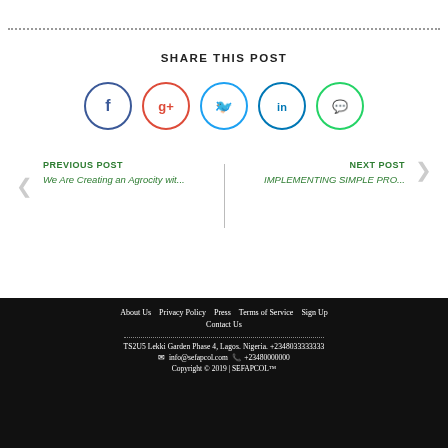[Figure (other): Horizontal dotted separator line]
SHARE THIS POST
[Figure (other): Row of five social media share icons: Facebook, Google+, Twitter, LinkedIn, WhatsApp]
PREVIOUS POST
We Are Creating an Agrocity wit...
NEXT POST
IMPLEMENTING SIMPLE PRO...
About Us   Privacy Policy   Press   Terms of Service   Sign Up   Contact Us
TS2U5 Lekki Garden Phase 4, Lagos. Nigeria. +2348033333333
info@sefapcol.com   +23480000000
Copyright © 2019 | SEFAPCOL™